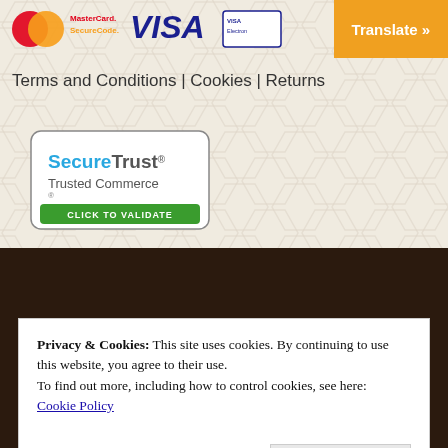[Figure (logo): MasterCard SecureCode and VISA payment logos with Translate button]
Terms and Conditions | Cookies | Returns
[Figure (logo): SecureTrust Trusted Commerce Click to Validate badge]
BEEKEEPING & PEST CONTROL CLOTHING, BEE HIVES, HONEY EXTRACTION EQUIPMENT, CONSUMABLES,
Privacy & Cookies: This site uses cookies. By continuing to use this website, you agree to their use.
To find out more, including how to control cookies, see here:
Cookie Policy
Close and accept